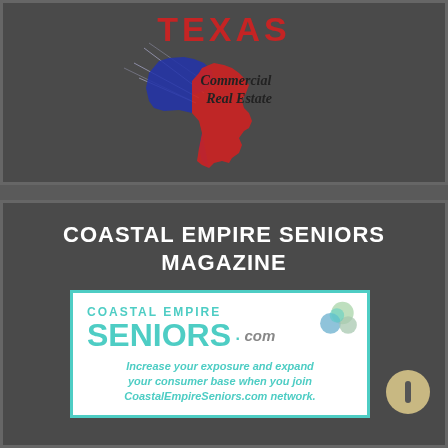[Figure (logo): Texas Commercial Real Estate logo with Texas state map shape in blue and red, with 'TEXAS' text in red at top and 'Commercial Real Estate' in script text, on dark gray background]
COASTAL EMPIRE SENIORS MAGAZINE
[Figure (logo): Coastal Empire Seniors .com advertisement. Teal text reading 'COASTAL EMPIRE SENIORS.com' with colorful sphere graphics. Italic teal tagline: 'Increase your exposure and expand your consumer base when you join CoastalEmpireSeniors.com network.' White background with teal border.]